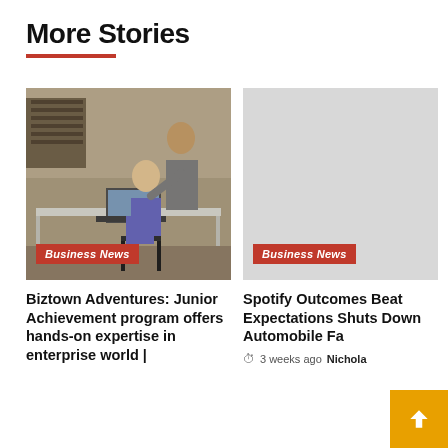More Stories
[Figure (photo): Teacher helping students at laptops in a classroom/library setting. Business News badge overlaid at bottom left.]
[Figure (photo): Gray placeholder image. Business News badge overlaid at bottom left.]
Biztown Adventures: Junior Achievement program offers hands-on expertise in enterprise world |
Spotify Outcomes Beat Expectations Shuts Down Automobile Fa
3 weeks ago  Nicholas